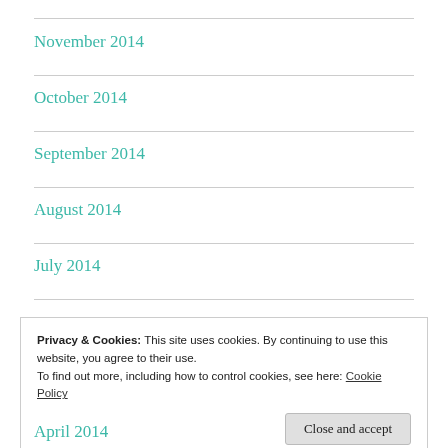November 2014
October 2014
September 2014
August 2014
July 2014
Privacy & Cookies: This site uses cookies. By continuing to use this website, you agree to their use.
To find out more, including how to control cookies, see here: Cookie Policy
[Close and accept]
April 2014